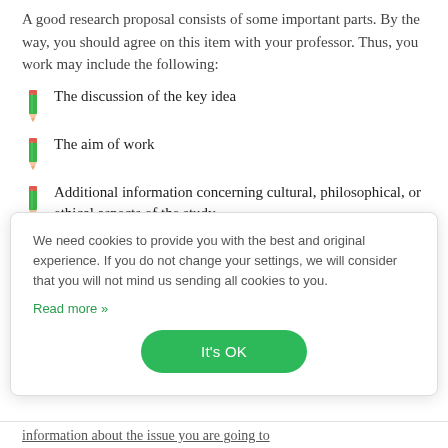A good research proposal consists of some important parts. By the way, you should agree on this item with your professor. Thus, you work may include the following:
The discussion of the key idea
The aim of work
Additional information concerning cultural, philosophical, or ethical aspects of the study
A research outline
The meaning of the obtained results
A list of terms with their meaning used in the
We need cookies to provide you with the best and original experience. If you do not change your settings, we will consider that you will not mind us sending all cookies to you. Read more »
It's OK
information about the issue you are going to